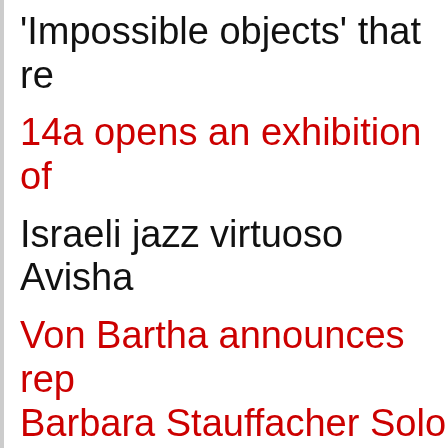'Impossible objects' that re…
14a opens an exhibition of…
Israeli jazz virtuoso Avisha…
Von Bartha announces rep… Barbara Stauffacher Solo…
Ronald Harwood, Oscar-w… 85
Sealed Pokémon box set s… at Heritage Auctions…